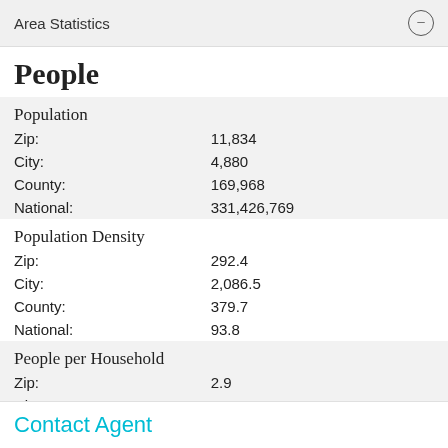Area Statistics
People
| Population |  |
| Zip: | 11,834 |
| City: | 4,880 |
| County: | 169,968 |
| National: | 331,426,769 |
| Population Density |  |
| Zip: | 292.4 |
| City: | 2,086.5 |
| County: | 379.7 |
| National: | 93.8 |
| People per Household |  |
| Zip: | 2.9 |
| City: | 2.9 |
Contact Agent